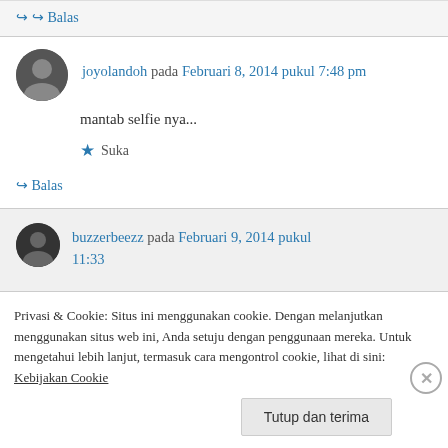↪ Balas
joyolandoh pada Februari 8, 2014 pukul 7:48 pm
mantab selfie nya...
★ Suka
↪ Balas
buzzerbeezz pada Februari 9, 2014 pukul 11:33
Privasi & Cookie: Situs ini menggunakan cookie. Dengan melanjutkan menggunakan situs web ini, Anda setuju dengan penggunaan mereka. Untuk mengetahui lebih lanjut, termasuk cara mengontrol cookie, lihat di sini: Kebijakan Cookie
Tutup dan terima